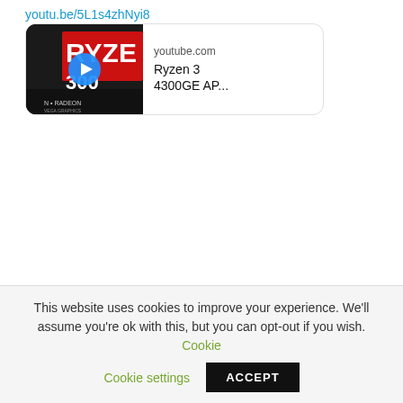youtu.be/5L1s4zhNyi8
[Figure (screenshot): YouTube video card showing a Ryzen 3 4300GE thumbnail with play button, site label 'youtube.com', and title 'Ryzen 3 4300GE AP...']
ARCHIVES
August 2022
July 2022
June 2022
This website uses cookies to improve your experience. We'll assume you're ok with this, but you can opt-out if you wish. Cookie settings ACCEPT